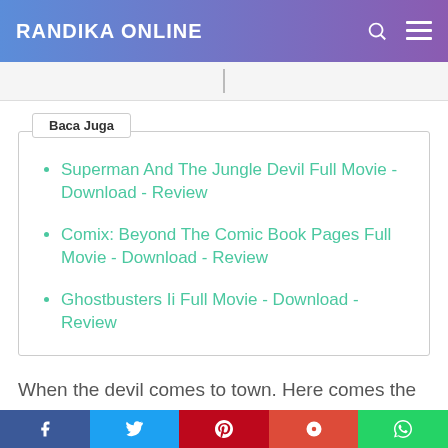RANDIKA ONLINE
Baca Juga
Superman And The Jungle Devil Full Movie - Download - Review
Comix: Beyond The Comic Book Pages Full Movie - Download - Review
Ghostbusters Ii Full Movie - Download - Review
When the devil comes to town. Here comes the devil stream online. When the devil comes to town 4k watch online.
SHARE THIS POST